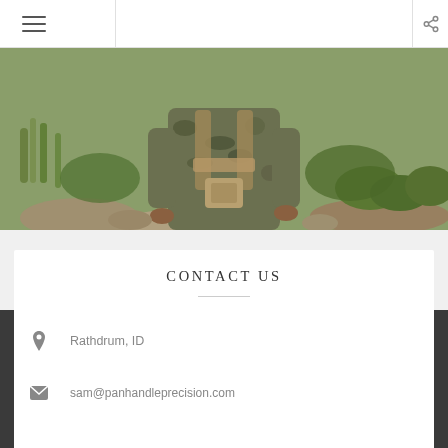[Figure (photo): Person in camouflage gear standing outdoors in a green, rocky landscape — only torso and hands visible, wearing tactical vest]
CONTACT US
Rathdrum, ID
sam@panhandleprecision.com